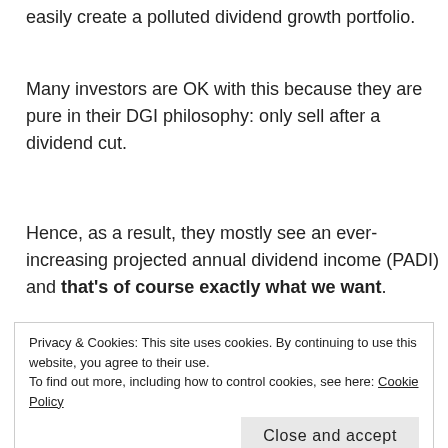easily create a polluted dividend growth portfolio.
Many investors are OK with this because they are pure in their DGI philosophy: only sell after a dividend cut.
Hence, as a result, they mostly see an ever-increasing projected annual dividend income (PADI) and that’s of course exactly what we want.
But this is also where I’m a little bit different in my
Privacy & Cookies: This site uses cookies. By continuing to use this website, you agree to their use.
To find out more, including how to control cookies, see here: Cookie Policy
Close and accept
these were General Electric and Tupperware. I’ve